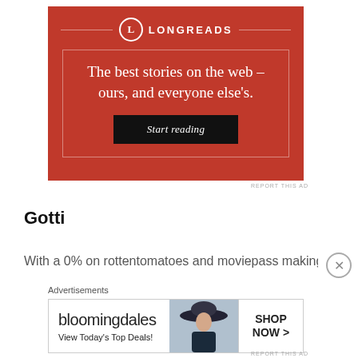[Figure (advertisement): Longreads advertisement with red background, logo with circle L, tagline 'The best stories on the web – ours, and everyone else's.' and a 'Start reading' button.]
REPORT THIS AD
Gotti
With a 0% on rottentomatoes and moviepass making it
[Figure (advertisement): Bloomingdales advertisement banner with logo, 'View Today's Top Deals!' text, image of woman with hat, and 'SHOP NOW >' button.]
REPORT THIS AD